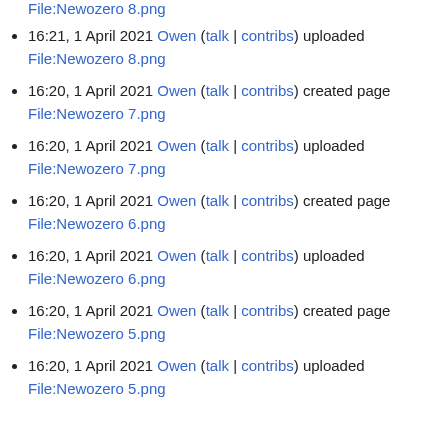File:Newozero 8.png (link at top)
16:21, 1 April 2021 Owen (talk | contribs) uploaded File:Newozero 8.png
16:20, 1 April 2021 Owen (talk | contribs) created page File:Newozero 7.png
16:20, 1 April 2021 Owen (talk | contribs) uploaded File:Newozero 7.png
16:20, 1 April 2021 Owen (talk | contribs) created page File:Newozero 6.png
16:20, 1 April 2021 Owen (talk | contribs) uploaded File:Newozero 6.png
16:20, 1 April 2021 Owen (talk | contribs) created page File:Newozero 5.png
16:20, 1 April 2021 Owen (talk | contribs) uploaded File:Newozero 5.png (partial)